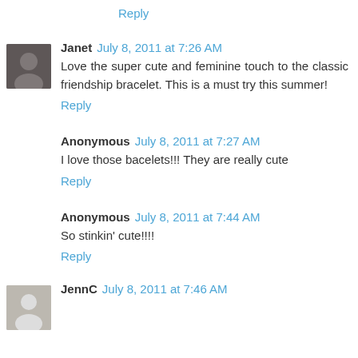Reply
Janet  July 8, 2011 at 7:26 AM
Love the super cute and feminine touch to the classic friendship bracelet. This is a must try this summer!
Reply
Anonymous  July 8, 2011 at 7:27 AM
I love those bacelets!!! They are really cute
Reply
Anonymous  July 8, 2011 at 7:44 AM
So stinkin' cute!!!!
Reply
JennC  July 8, 2011 at 7:46 AM